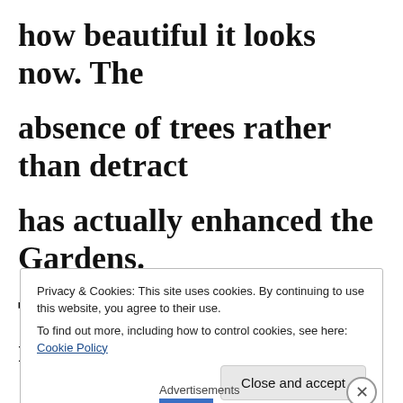how beautiful it looks now. The absence of trees rather than detract has actually enhanced the Gardens. There is more light, more room to
Privacy & Cookies: This site uses cookies. By continuing to use this website, you agree to their use.
To find out more, including how to control cookies, see here: Cookie Policy
Close and accept
Advertisements